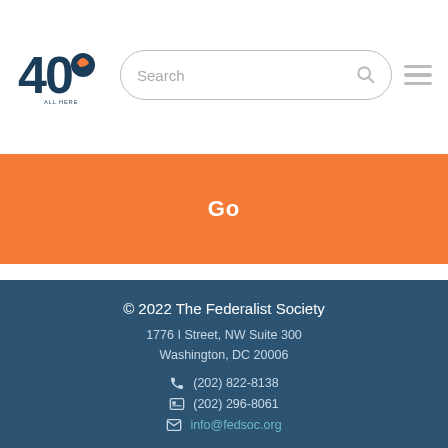[Figure (logo): Federalist Society 40th anniversary logo — stylized '40' with a torch/head silhouette]
Search
Go
© 2022 The Federalist Society
1776 I Street, NW Suite 300
Washington, DC 20006
(202) 822-8138
(202) 296-8061
info@fedsoc.org